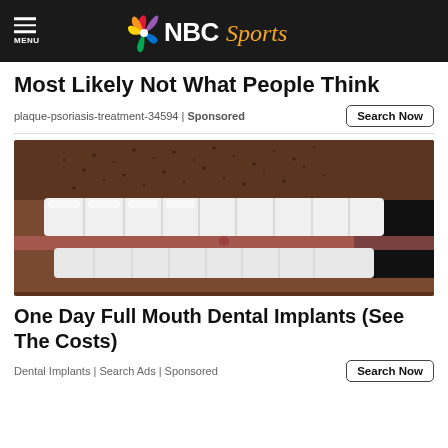NBC Sports
Most Likely Not What People Think
plaque-psoriasis-treatment-34594 | Sponsored
[Figure (photo): Close-up photo of a man's mouth showing dental implants — a full row of white upper teeth and lower teeth visible, with stubble on face]
One Day Full Mouth Dental Implants (See The Costs)
Dental Implants | Search Ads | Sponsored